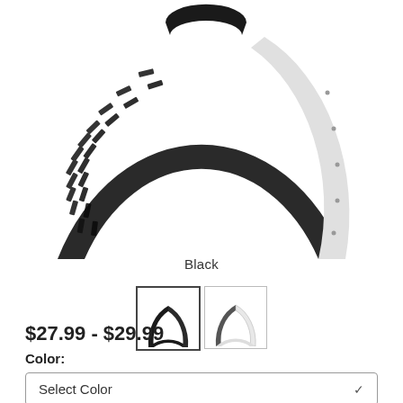[Figure (photo): Product photo of a bicycle tire with black tread pattern and white sidewall, shown as an arch/ring shape on white background]
Black
[Figure (photo): Two small thumbnail images of bicycle tire color variants: first thumbnail shows black tire (selected, dark border), second shows white/light tire (lighter border)]
$27.99 - $29.99
Color:
Select Color